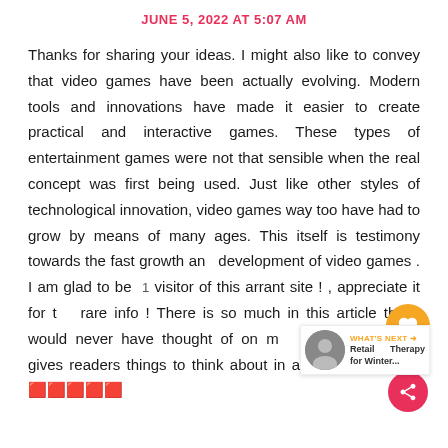JUNE 5, 2022 AT 5:07 AM
Thanks for sharing your ideas. I might also like to convey that video games have been actually evolving. Modern tools and innovations have made it easier to create practical and interactive games. These types of entertainment games were not that sensible when the real concept was first being used. Just like other styles of technological innovation, video games way too have had to grow by means of many ages. This itself is testimony towards the fast growth and development of video games . I am glad to be  1 visitor of this arrant site ! , appreciate it for t rare info ! There is so much in this article that I would never have thought of on my content gives readers things to think about in an interesting way. 🟥🟥🟥🟥🟥